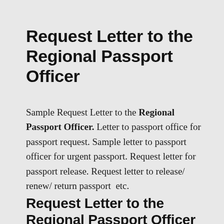Request Letter to the Regional Passport Officer
Sample Request Letter to the Regional Passport Officer. Letter to passport office for passport request. Sample letter to passport officer for urgent passport. Request letter for passport release. Request letter to release/ renew/ return passport  etc.
Request Letter to the Regional Passport Officer